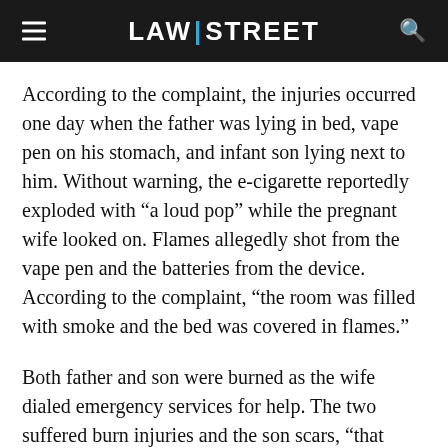LAW|STREET
According to the complaint, the injuries occurred one day when the father was lying in bed, vape pen on his stomach, and infant son lying next to him. Without warning, the e-cigarette reportedly exploded with “a loud pop” while the pregnant wife looked on. Flames allegedly shot from the vape pen and the batteries from the device. According to the complaint, “the room was filled with smoke and the bed was covered in flames.”
Both father and son were burned as the wife dialed emergency services for help. The two suffered burn injuries and the son scars, “that serve as a lifetime reminder of this painful incident,” the complaint said.